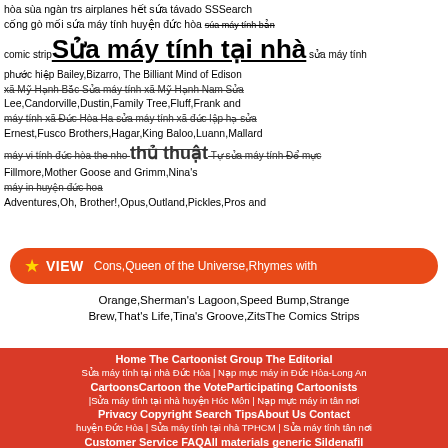hòa súa ngàn trs airplanes hết súa távado SSSearch cống gò mối sứa máy tính huyện đức hòa súa máy tính bản phước hiệp comic strip Arctic Circle, Baby Blues, Ballard Street, Beetle Bailey, Bizarro, The Brilliant Mind of Edison Lee, Candorville, Dustin, Family Tree, Fluff, Frank and Ernest, Fusco Brothers, Hagar, King Baloo, Luann, Mallard Fillmore, Mother Goose and Grimm, Nina's Adventures, Oh, Brother!, Opus, Outland, Pickles, Pros and
Sửa máy tính tại nhà
sửa máy tính xã Mỹ Hạnh Bắc Sửa máy tính xã Mỹ Hạnh Nam Sửa máy tính xã Đức Hòa Ha sửa máy tính xã đức lập hạ sửa máy vi tính đức hòa the nho thủ thuật Tự sửa máy tính Đổ mực máy in huyện đức hoa
Cons, Queen of the Universe, Rhymes with Orange, Sherman's Lagoon, Speed Bump, Strange Brew, That's Life, Tina's Groove, ZitsThe Comics Strips
Home The Cartoonist Group The Editorial CartoonsCartoon the VoteParticipating Cartoonists Privacy Copyright Search TipsAbout Us Contact Customer Service FAQAll materials generic Sildenafil Citrate Pills Buy in this site, including the structure and organization of the By Subject and Alphabetical Searches, are protected by copyright, trademark or other laws and shall not be used for any other purpose
Sửa máy tính tại nhà Đức Hòa | Nạp mực máy in Đức Hòa-Long An |Sửa máy tính tại nhà huyện Hóc Môn | Nạp mực máy in tân nơi huyện Đức Hòa | Sửa máy tính tại nhà TPHCM | Sửa máy tính tân nơi huyện Bến Lức | Sửa máy tính tại nhà Duc Hoa
VI TÍNH HIGIASU
583 Ấp Chánh, xã Đức lập Hạ, huyện Đức Hòa, Long An
Copyright © 2022 Higiasu.com | Điện thoại Hotline: 09.782.782.42